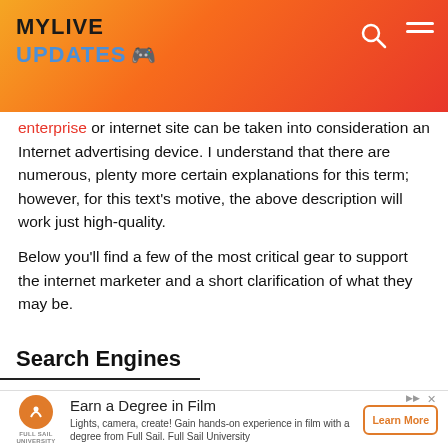MYLIVE UPDATES
enterprise or internet site can be taken into consideration an Internet advertising device. I understand that there are numerous, plenty more certain explanations for this term; however, for this text's motive, the above description will work just high-quality.
Below you'll find a few of the most critical gear to support the internet marketer and a short clarification of what they may be.
Search Engines
Earn a Degree in Film
Lights, camera, create! Gain hands-on experience in film with a degree from Full Sail. Full Sail University